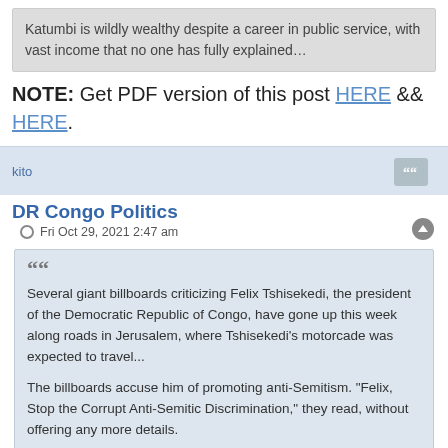Katumbi is wildly wealthy despite a career in public service, with vast income that no one has fully explained…
NOTE: Get PDF version of this post HERE && HERE.
kito
DR Congo Politics
Fri Oct 29, 2021 2:47 am
Several giant billboards criticizing Felix Tshisekedi, the president of the Democratic Republic of Congo, have gone up this week along roads in Jerusalem, where Tshisekedi's motorcade was expected to travel...

The billboards accuse him of promoting anti-Semitism. "Felix, Stop the Corrupt Anti-Semitic Discrimination," they read, without offering any more details.

Tshisekedi's main political rival is Moise Katumbi, a politician of mixed Jewish-Congolese heritage..."